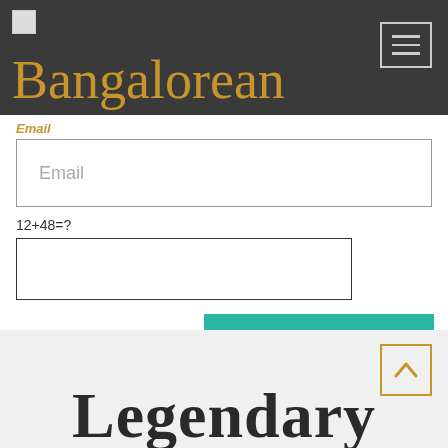Bangalorean
Email
Email
SUBMIT
Legendary